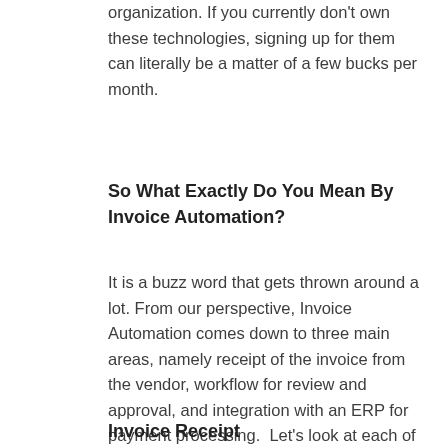organization. If you currently don't own these technologies, signing up for them can literally be a matter of a few bucks per month.
So What Exactly Do You Mean By Invoice Automation?
It is a buzz word that gets thrown around a lot. From our perspective, Invoice Automation comes down to three main areas, namely receipt of the invoice from the vendor, workflow for review and approval, and integration with an ERP for payment processing.  Let's look at each of these functions separately and explore how Microsoft Office 365 can streamline them.
Invoice Receipt